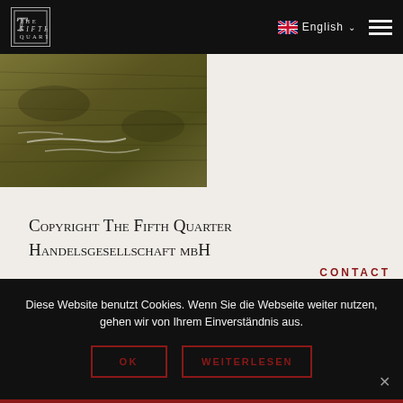THE FIFTH QUARTER — English (navigation bar with logo, language selector, hamburger menu)
[Figure (photo): Close-up photo of water surface with greenish-brown coloring and white scratch/ripple marks]
Copyright The Fifth Quarter Handelsgesellschaft mbH
CONTACT
Diese Website benutzt Cookies. Wenn Sie die Webseite weiter nutzen, gehen wir von Ihrem Einverständnis aus.
OK
WEITERLESEN
[Figure (illustration): White phone/telephone icon on dark red background footer]